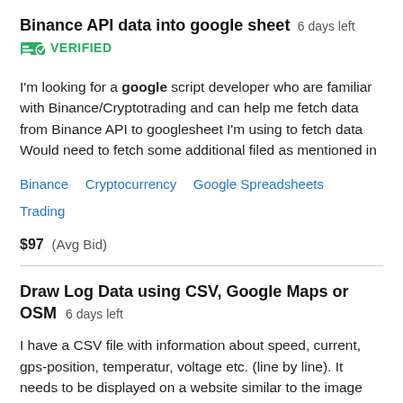Binance API data into google sheet  6 days left
VERIFIED
I'm looking for a google script developer who are familiar with Binance/Cryptotrading and can help me fetch data from Binance API to googlesheet I'm using to fetch data Would need to fetch some additional filed as mentioned in
Binance  Cryptocurrency  Google Spreadsheets  Trading
$97  (Avg Bid)
Draw Log Data using CSV, Google Maps or OSM  6 days left
I have a CSV file with information about speed, current, gps-position, temperatur, voltage etc. (line by line). It needs to be displayed on a website similar to the image shown: curves of data below, map on top. Map can be Google (if it is free) or Openstreetmap (OSM). The...